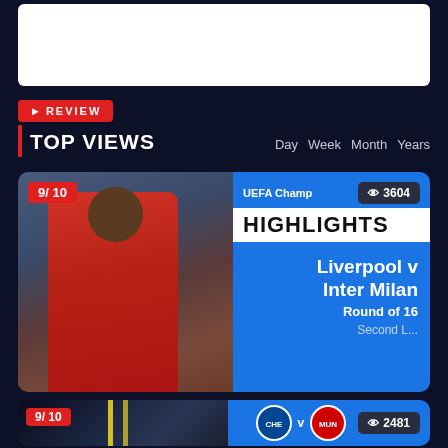[Figure (screenshot): White advertisement/banner box at top of page]
REVIEW TOP VIEWS
Day  Week  Month  Years
[Figure (screenshot): Top video card: Liverpool v Inter Milan highlights, UEFA Champions League, Round of 16. Rating 9/10, Views 3604.]
[Figure (screenshot): Second video card: Chelsea v Manchester United. Rating 9/10, Views 2481.]